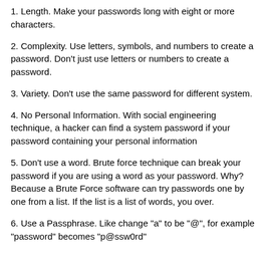1. Length. Make your passwords long with eight or more characters.
2. Complexity. Use letters, symbols, and numbers to create a password. Don't just use letters or numbers to create a password.
3. Variety. Don't use the same password for different system.
4. No Personal Information. With social engineering technique, a hacker can find a system password if your password containing your personal information
5. Don't use a word. Brute force technique can break your password if you are using a word as your password. Why? Because a Brute Force software can try passwords one by one from a list. If the list is a list of words, you over.
6. Use a Passphrase. Like change "a" to be "@", for example "password" becomes "p@ssw0rd"